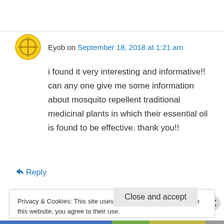Eyob on September 18, 2018 at 1:21 am
i found it very interesting and informative!! can any one give me some information about mosquito repellent traditional medicinal plants in which their essential oil is found to be effective. thank you!!
↳ Reply
Privacy & Cookies: This site uses cookies. By continuing to use this website, you agree to their use.
To find out more, including how to control cookies, see here: Cookie Policy
Close and accept